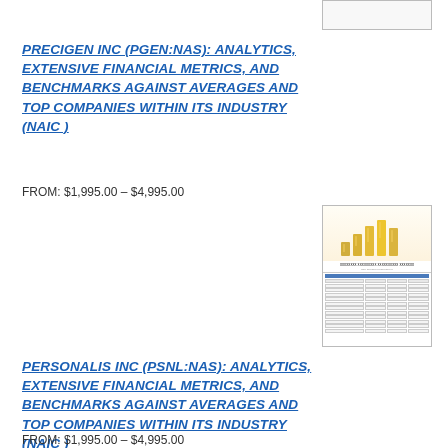PRECIGEN INC (PGEN:NAS): ANALYTICS, EXTENSIVE FINANCIAL METRICS, AND BENCHMARKS AGAINST AVERAGES AND TOP COMPANIES WITHIN ITS INDUSTRY (NAIC)
FROM: $1,995.00 – $4,995.00
[Figure (illustration): Thumbnail image of a financial benchmarks report cover with gold bar chart graphic on top and a data table below, bordered with thin lines.]
PERSONALIS INC (PSNL:NAS): ANALYTICS, EXTENSIVE FINANCIAL METRICS, AND BENCHMARKS AGAINST AVERAGES AND TOP COMPANIES WITHIN ITS INDUSTRY (NAIC)
FROM: $1,995.00 – $4,995.00